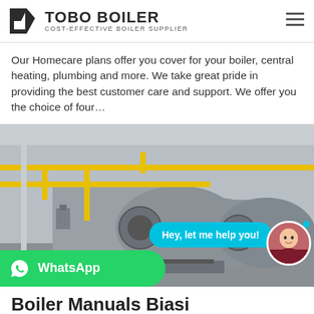TOBO BOILER — COST-EFFECTIVE BOILER SUPPLIER
Our Homecare plans offer you cover for your boiler, central heating, plumbing and more. We take great pride in providing the best customer care and support. We offer you the choice of four…
[Figure (photo): Industrial boiler room with two large horizontal cylindrical boilers and yellow pipe railing. Chat bubble overlay says 'Hey, let me help you!' with avatar. WhatsApp button at bottom left.]
Boiler Manuals Biasi
Download manuals & user guides for 287 devices offered by Biasi